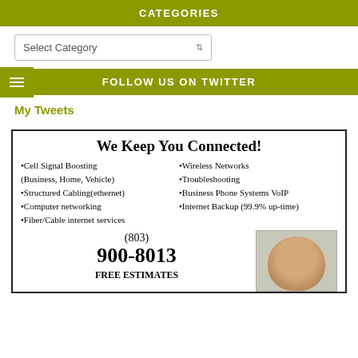CATEGORIES
Select Category
FOLLOW US ON TWITTER
My Tweets
[Figure (other): Advertisement: We Keep You Connected! Cell Signal Boosting (Business, Home, Vehicle), Structured Cabling(ethernet), Computer networking, Fiber/Cable internet services, Wireless Networks, Troubleshooting, Business Phone Systems VoIP, Internet Backup (99.9% up-time). Phone: (803) 900-8013. FREE ESTIMATES. Photo of a man.]